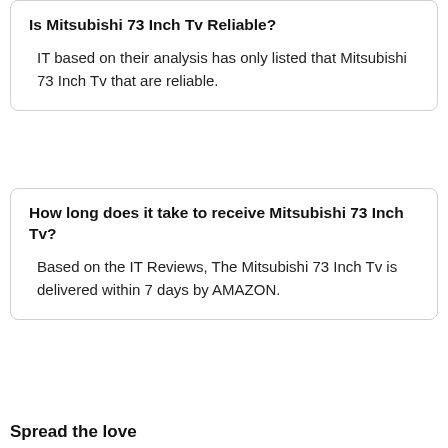Is Mitsubishi 73 Inch Tv Reliable?
IT based on their analysis has only listed that Mitsubishi 73 Inch Tv that are reliable.
How long does it take to receive Mitsubishi 73 Inch Tv?
Based on the IT Reviews, The Mitsubishi 73 Inch Tv is delivered within 7 days by AMAZON.
Spread the love